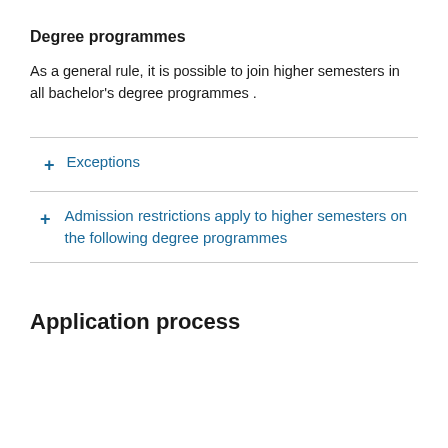Degree programmes
As a general rule, it is possible to join higher semesters in all bachelor's degree programmes .
+ Exceptions
+ Admission restrictions apply to higher semesters on the following degree programmes
Application process